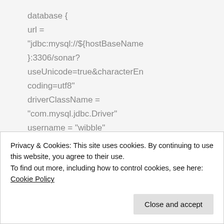database {
url =
"jdbc:mysql://${hostBaseName}:3306/sonar?useUnicode=true&characterEncoding=utf8"
driverClassName =
"com.mysql.jdbc.Driver"
username = "wibble"
password = "wobble"
}
Privacy & Cookies: This site uses cookies. By continuing to use this website, you agree to their use.
To find out more, including how to control cookies, see here: Cookie Policy
Close and accept